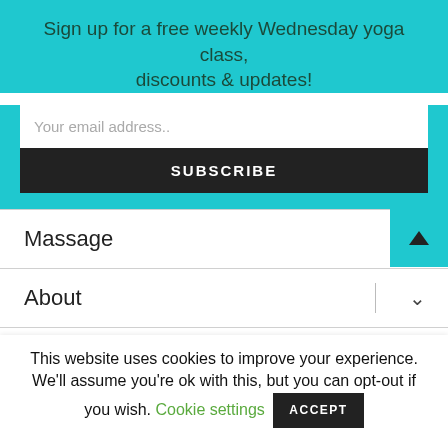Sign up for a free weekly Wednesday yoga class, discounts & updates!
Your email address..
SUBSCRIBE
Massage
About
Contact
[Figure (other): Row of six circular social media icon buttons]
This website uses cookies to improve your experience. We'll assume you're ok with this, but you can opt-out if you wish. Cookie settings ACCEPT